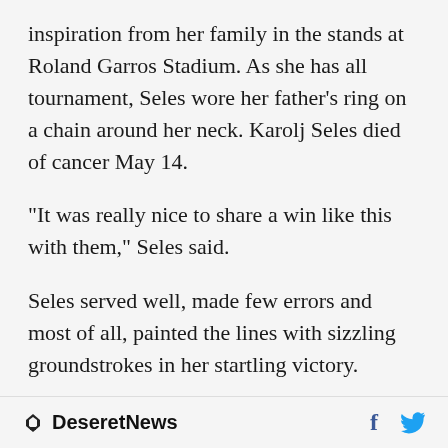inspiration from her family in the stands at Roland Garros Stadium. As she has all tournament, Seles wore her father's ring on a chain around her neck. Karolj Seles died of cancer May 14.
"It was really nice to share a win like this with them," Seles said.
Seles served well, made few errors and most of all, painted the lines with sizzling groundstrokes in her startling victory.
Seles had never beaten Hingis in their previous
Deseret News